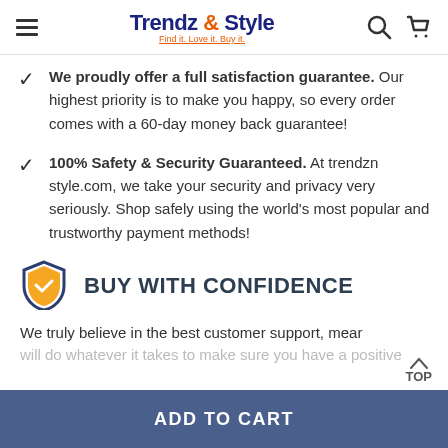Trendz & Style — Find it. Love it. Buy it.
We proudly offer a full satisfaction guarantee. Our highest priority is to make you happy, so every order comes with a 60-day money back guarantee!
100% Safety & Security Guaranteed. At trendzn style.com, we take your security and privacy very seriously. Shop safely using the world's most popular and trustworthy payment methods!
BUY WITH CONFIDENCE
We truly believe in the best customer support, mean will do whatever it takes to make sure you have a positive